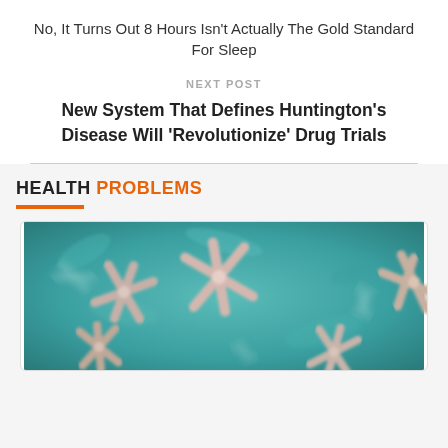No, It Turns Out 8 Hours Isn't Actually The Gold Standard For Sleep
NEXT POST
New System That Defines Huntington's Disease Will 'Revolutionize' Drug Trials
HEALTH PROBLEMS
[Figure (photo): Microscopic image of chromosomes on a teal/cyan background, showing multiple X-shaped chromosome structures in pink/white tones]